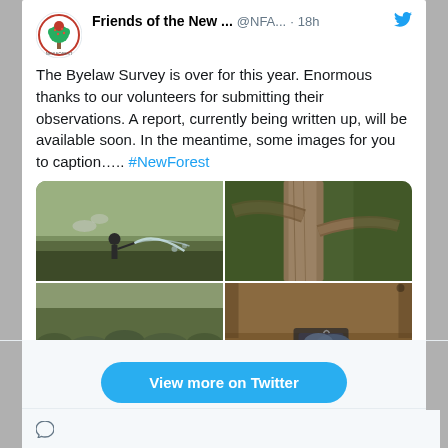[Figure (screenshot): Twitter/social media post screenshot from 'Friends of the New...' (@NFA...) posted 18h ago. Text: 'The Byelaw Survey is over for this year. Enormous thanks to our volunteers for submitting their observations. A report, currently being written up, will be available soon. In the meantime, some images for you to caption..... #NewForest'. Four nature/outdoor photos in a 2x2 grid. Heart count: 2. Below: 'View more on Twitter' button.]